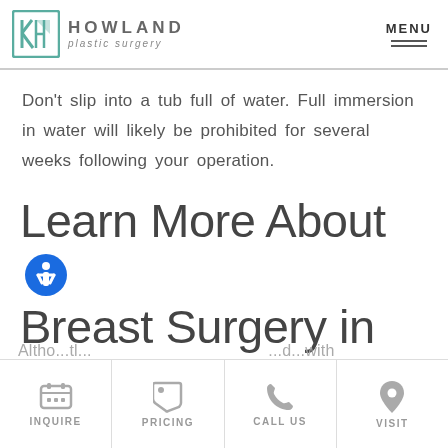HOWLAND plastic surgery | MENU
Don't slip into a tub full of water. Full immersion in water will likely be prohibited for several weeks following your operation.
Learn More About Breast Surgery in Draper, UT
INQUIRE | PRICING | CALL US | VISIT